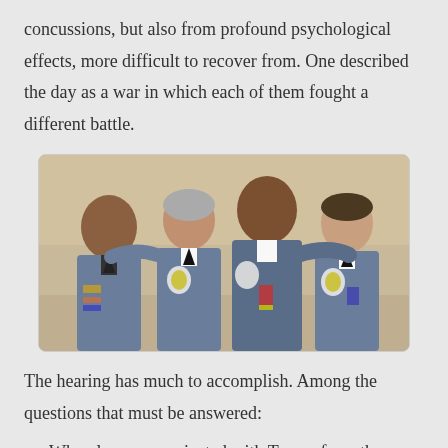concussions, but also from profound psychological effects, more difficult to recover from. One described the day as a war in which each of them fought a different battle.
[Figure (photo): Four police officers in dress uniforms posing together for a photo indoors.]
The hearing has much to accomplish. Among the questions that must be answered:
Who else communicated with Trump from the